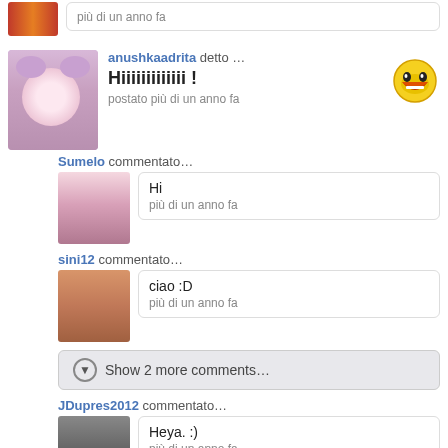più di un anno fa
anushkaadrita detto … Hiiiiiiiiiiiii ! postato più di un anno fa
Sumelo commentato… Hi più di un anno fa
sini12 commentato… ciao :D più di un anno fa
Show 2 more comments…
JDupres2012 commentato… Heya. :) più di un anno fa
neonClouds detto … It's funny how back then Raiden was universally hated da gamers and Dante